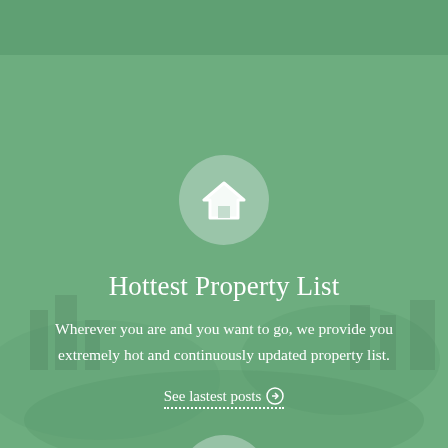[Figure (illustration): Green-tinted aerial city landscape background with semi-transparent green overlay]
[Figure (illustration): Light green circle icon with white house/home symbol]
Hottest Property List
Wherever you are and you want to go, we provide you extremely hot and continuously updated property list.
See lastest posts ⊕
[Figure (illustration): Light green circle icon with white thumbs up symbol]